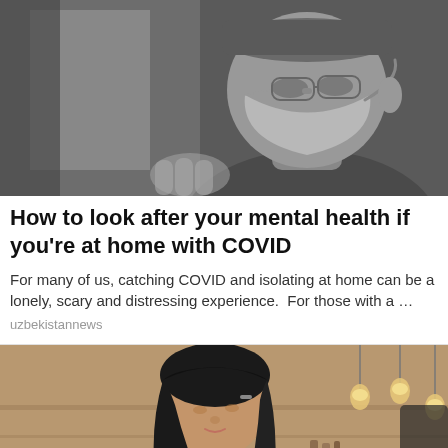[Figure (photo): Black and white photo of a person wearing a face mask, looking to the side, with a blurred background]
How to look after your mental health if you're at home with COVID
For many of us, catching COVID and isolating at home can be a lonely, scary and distressing experience.  For those with a …
uzbekistannews
[Figure (photo): Color photo of a young woman with black hair looking downward, writing or working, in a warm cafe-like setting with pendant lights in background]